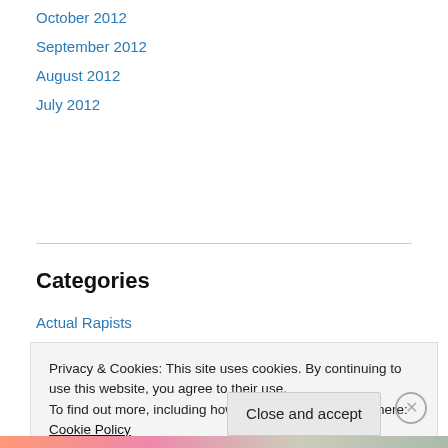October 2012
September 2012
August 2012
July 2012
Categories
Actual Rapists
Aliens masquerading as human politicians
Bailey-Blanchard-Dreger Con Artistry
Bill Hicks
cats
Privacy & Cookies: This site uses cookies. By continuing to use this website, you agree to their use.
To find out more, including how to control cookies, see here: Cookie Policy
Close and accept